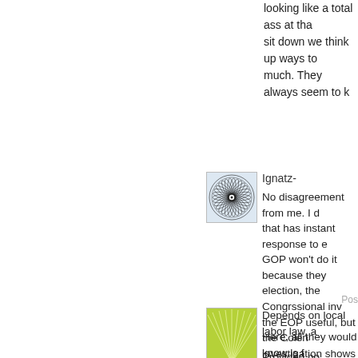looking like a total ass at that sit down we think up ways to much. They always seem to k
[Figure (illustration): Avatar icon with circular geometric spiral pattern in black and white]
Ignatz-
No disagreement from me. I d that has instant response to e GOP won't do it because they election, the Congrssional inv the EOP useful, but the Colen investigation shows how outr investigation politics). And the response team set up in one woman tell Barack that he is t
Pos
[Figure (illustration): Avatar icon with green abstract leaf/burst pattern]
Depends on local labor law, a
Here, all they would know is f
Provided no Einsteins commi